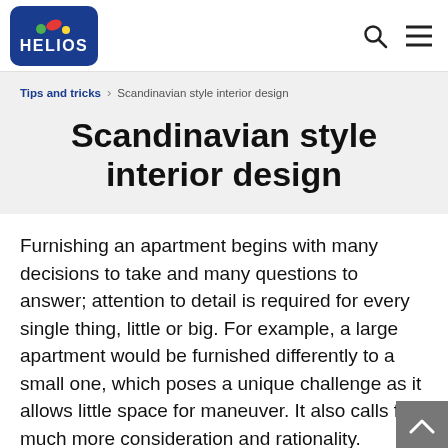[Figure (logo): Helios brand logo: blue rounded rectangle with colored dots and white HELIOS text]
Tips and tricks > Scandinavian style interior design
Scandinavian style interior design
Furnishing an apartment begins with many decisions to take and many questions to answer; attention to detail is required for every single thing, little or big. For example, a large apartment would be furnished differently to a small one, which poses a unique challenge as it allows little space for maneuver. It also calls for much more consideration and rationality.